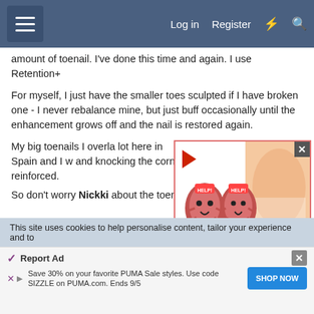Log in  Register
amount of toenail. I've done this time and again. I use Retention+
For myself, I just have the smaller toes sculpted if I have broken one - I never rebalance mine, but just buff occasionally until the enhancement grows off and the nail is restored again.
My big toenails I overla lot here in Spain and I w and knocking the corne reinforced.
[Figure (illustration): Advertisement showing cartoon kidney characters with 'HELP!' sign and a person with back pain, text reads 'Kidney Stones symptoms']
So don't worry Nickki about the toenails being small -
This site uses cookies to help personalise content, tailor your experience and to
Save 30% on your favorite PUMA Sale styles. Use code SIZZLE on PUMA.com. Ends 9/5